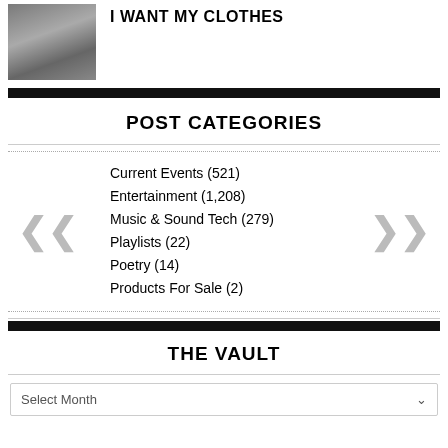[Figure (photo): Small thumbnail photo of a person in a store or shop setting]
I WANT MY CLOTHES
POST CATEGORIES
Current Events (521)
Entertainment (1,208)
Music & Sound Tech (279)
Playlists (22)
Poetry (14)
Products For Sale (2)
THE VAULT
Select Month